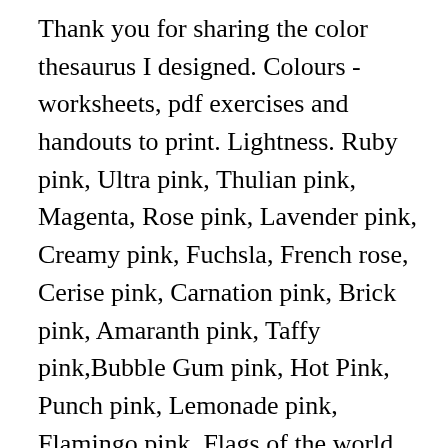Thank you for sharing the color thesaurus I designed. Colours - worksheets, pdf exercises and handouts to print. Lightness. Ruby pink, Ultra pink, Thulian pink, Magenta, Rose pink, Lavender pink, Creamy pink, Fuchsla, French rose, Cerise pink, Carnation pink, Brick pink, Amaranth pink, Taffy pink,Bubble Gum pink, Hot Pink, Punch pink, Lemonade pink, Flamingo pink. Flags of the world. All modern browsers support the following 140 color names (click on a color name, or a hex value, to view the color as the background-color along with different text colors): Click here to see the 140 colors sorted by HEX Value. Nov 29, 2019 - all colours name with picture pdf - Google Search Some people define them as the